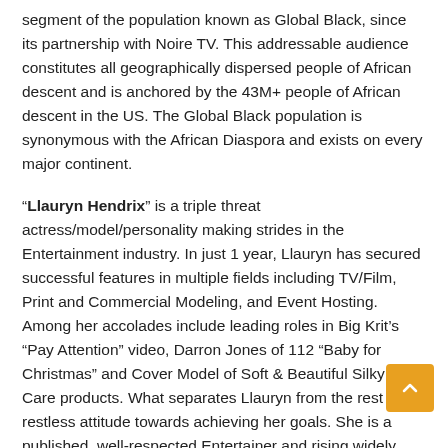segment of the population known as Global Black, since its partnership with Noire TV. This addressable audience constitutes all geographically dispersed people of African descent and is anchored by the 43M+ people of African descent in the US. The Global Black population is synonymous with the African Diaspora and exists on every major continent.
“Llauryn Hendrix” is a triple threat actress/model/personality making strides in the Entertainment industry. In just 1 year, Llauryn has secured successful features in multiple fields including TV/Film, Print and Commercial Modeling, and Event Hosting. Among her accolades include leading roles in Big Krit’s “Pay Attention” video, Darron Jones of 112 “Baby for Christmas” and Cover Model of Soft & Beautiful Silky Hair Care products. What separates Llauryn from the rest is her restless attitude towards achieving her goals. She is a published, well-respected Entertainer and rising widely heralded portion of...